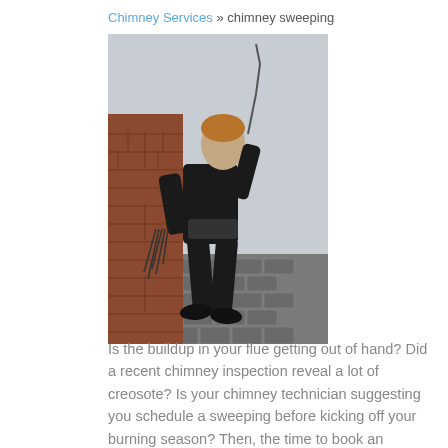Chimney Services » chimney sweeping
[Figure (photo): A chimney sweep technician standing on a rooftop next to a brick chimney, dressed in black, holding sweeping equipment with chains/brushes. The rooftop tiles are visible in the background.]
Is the buildup in your flue getting out of hand? Did a recent chimney inspection reveal a lot of creosote? Is your chimney technician suggesting you schedule a sweeping before kicking off your burning season? Then, the time to book an appointment with the crew here at...